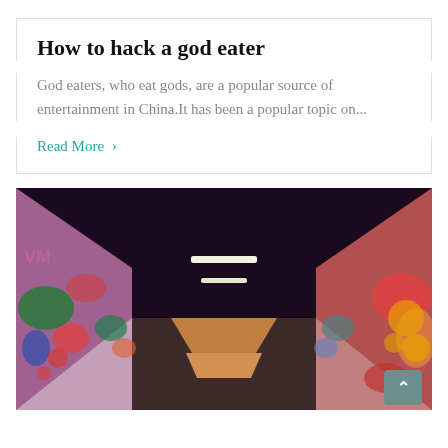How to hack a god eater
God eaters, who eat gods, are a popular source of entertainment in China.It has been a popular topic on...
Read More ›
[Figure (photo): A graffiti-covered corridor/tunnel photographed from the entrance, with colorful murals on both walls, overhead fluorescent lighting, and perspective leading to a warm glow at the far end. A scroll-to-top button is overlaid at the bottom right.]